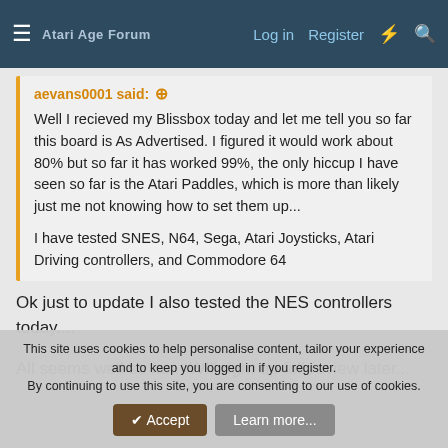Forum navigation bar with hamburger menu, logo, Log in, Register, and icon links
aevans0001 said: ↑

Well I recieved my Blissbox today and let me tell you so far this board is As Advertised. I figured it would work about 80% but so far it has worked 99%, the only hiccup I have seen so far is the Atari Paddles, which is more than likely just me not knowing how to set them up...

I have tested SNES, N64, Sega, Atari Joysticks, Atari Driving controllers, and Commodore 64
Ok just to update I also tested the NES controllers today....
All seems well so far... WIll right up full review later...
This site uses cookies to help personalise content, tailor your experience and to keep you logged in if you register.
By continuing to use this site, you are consenting to our use of cookies.